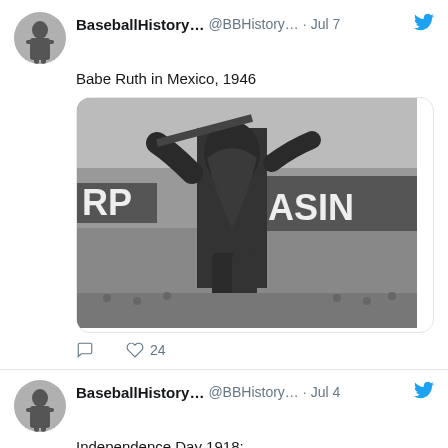BaseballHistory... @BBHistory... · Jul 7
Babe Ruth in Mexico, 1946
[Figure (photo): Black and white photograph of Babe Ruth in baseball uniform mid-swing, with a CASINO sign visible in the background, taken in Mexico 1946]
♡ 24
BaseballHistory... @BBHistory... · Jul 4
Independence Day 1918: baseballhistorydaily.com/2014/07/04/ind... #IndependenceDay
[Figure (photo): Black and white photograph partially visible at bottom of page, showing people in early 20th century setting]